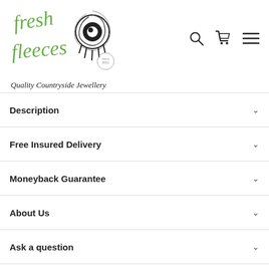[Figure (logo): Fresh Fleeces logo with cursive green text and sheep/eye illustration]
Quality Countryside Jewellery
Description
Free Insured Delivery
Moneyback Guarantee
About Us
Ask a question